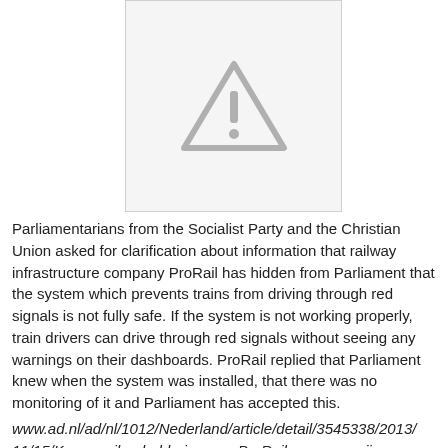[Figure (illustration): Warning triangle icon with exclamation mark, gray colored, displayed inside a light gray bordered rectangle]
Parliamentarians from the Socialist Party and the Christian Union asked for clarification about information that railway infrastructure company ProRail has hidden from Parliament that the system which prevents trains from driving through red signals is not fully safe. If the system is not working properly, train drivers can drive through red signals without seeing any warnings on their dashboards. ProRail replied that Parliament knew when the system was installed, that there was no monitoring of it and Parliament has accepted this.
www.ad.nl/ad/nl/1012/Nederland/article/detail/3545338/2013/11/15/Kamer-wil-opheldering-van-ProRail-over-verzwijgen-